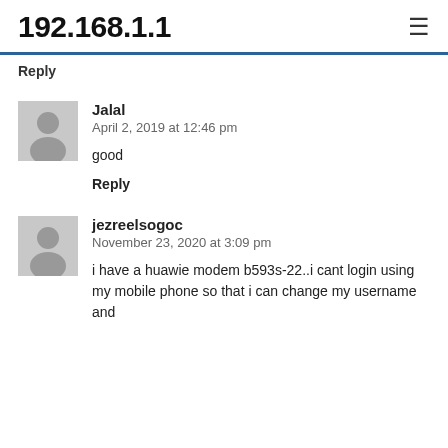192.168.1.1
Reply
Jalal
April 2, 2019 at 12:46 pm
good
Reply
jezreelsogoc
November 23, 2020 at 3:09 pm
i have a huawie modem b593s-22..i cant login using my mobile phone so that i can change my username and